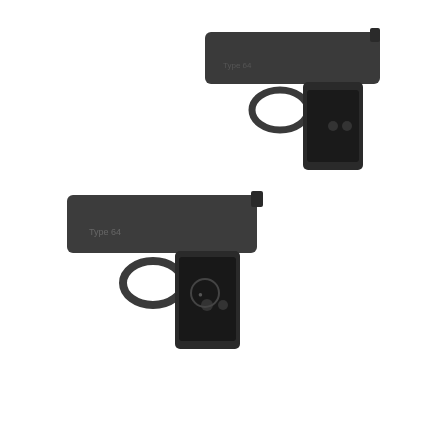[Figure (photo): Black and white photograph of two semi-automatic pistols (Type 64), one positioned above and slightly to the right, the other below and slightly to the left, overlapping each other.]
Type 64.
In 1909, a patriotic ex-Korean army officer who lost his position because of the Japanese (the Japanese army forcefully disarmed and disbanded the Korean army in 1905), shot and killed a Japanese politician who had played a major part in the colonization of Korea by Japan.  The weapon used at that time was the M1900.  Since this incident is very well known in both South and North Korea, it was probable that the North Korean leadership chose the M1900 to be very symbolic for them, especially since North